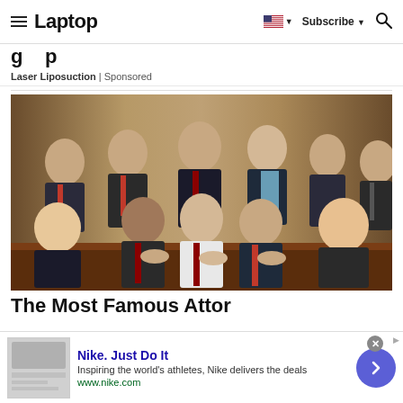Laptop — Subscribe
Laser Liposuction | Sponsored
[Figure (photo): Group portrait of approximately ten professionals in dark business suits seated and standing around a conference table with ornate curtains in the background.]
The Most Famous Attorneys in America
[Figure (other): Advertisement: Nike. Just Do It — Inspiring the world's athletes, Nike delivers the deals — www.nike.com]